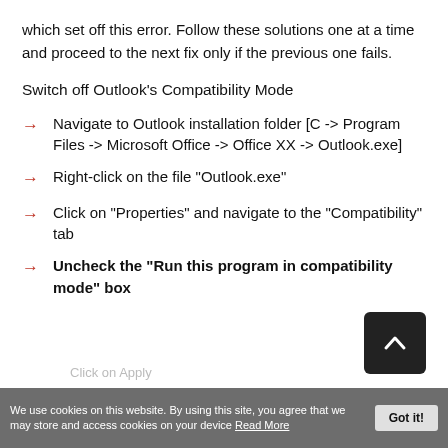which set off this error. Follow these solutions one at a time and proceed to the next fix only if the previous one fails.
Switch off Outlook's Compatibility Mode
Navigate to Outlook installation folder [C -> Program Files -> Microsoft Office -> Office XX -> Outlook.exe]
Right-click on the file "Outlook.exe"
Click on "Properties" and navigate to the "Compatibility" tab
Uncheck the "Run this program in compatibility mode" box
We use cookies on this website. By using this site, you agree that we may store and access cookies on your device Read More   Got it!